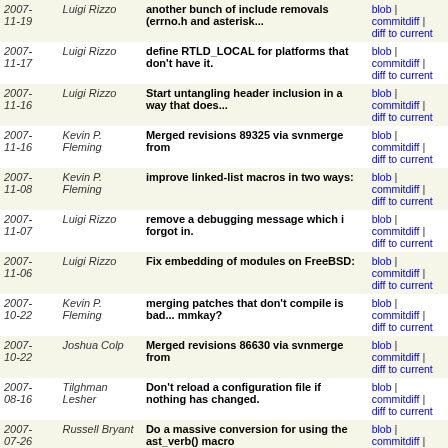| Date | Author | Message | Links |
| --- | --- | --- | --- |
| 2007-11-19 | Luigi Rizzo | another bunch of include removals (errno.h and asterisk... | blob | commitdiff | diff to current |
| 2007-11-17 | Luigi Rizzo | define RTLD_LOCAL for platforms that don't have it. | blob | commitdiff | diff to current |
| 2007-11-16 | Luigi Rizzo | Start untangling header inclusion in a way that does... | blob | commitdiff | diff to current |
| 2007-11-16 | Kevin P. Fleming | Merged revisions 89325 via svnmerge from | blob | commitdiff | diff to current |
| 2007-11-08 | Kevin P. Fleming | improve linked-list macros in two ways: | blob | commitdiff | diff to current |
| 2007-11-07 | Luigi Rizzo | remove a debugging message which i forgot in. | blob | commitdiff | diff to current |
| 2007-11-06 | Luigi Rizzo | Fix embedding of modules on FreeBSD: | blob | commitdiff | diff to current |
| 2007-10-22 | Kevin P. Fleming | merging patches that don't compile is bad... mmkay? | blob | commitdiff | diff to current |
| 2007-10-22 | Joshua Colp | Merged revisions 86630 via svnmerge from | blob | commitdiff | diff to current |
| 2007-08-16 | Tilghman Lesher | Don't reload a configuration file if nothing has changed. | blob | commitdiff | diff to current |
| 2007-07-26 | Russell Bryant | Do a massive conversion for using the ast_verb() macro | blob | commitdiff | diff to current |
| 2007-07-19 | Steve Murphy | After some study, thought, comparing, etc. I've backed... | blob | commitdiff | diff to current |
| 2007-07-18 | Tilghman Lesher | Merge in ast_strftime branch, which changes timestamps... | blob | commitdiff | diff to current |
| 2007- | Steve | via 10206. I have added an option | blob | |